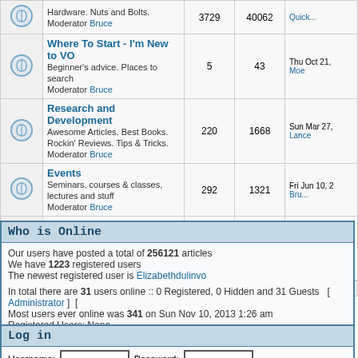|  | Forum | Topics | Posts | Last Post |
| --- | --- | --- | --- | --- |
| [icon] | Hardware. Nuts and Bolts.
Moderator Bruce | 3729 | 40062 | Quick... |
| [icon] | Where To Start - I'm New to VO
Beginner's advice. Places to search
Moderator Bruce | 5 | 43 | Thu Oct 21, ...
Moe |
| [icon] | Research and Development
Awesome Articles. Best Books. Rockin' Reviews. Tips & Tricks.
Moderator Bruce | 220 | 1668 | Sun Mar 27, ...
Lance |
| [icon] | Events
Seminars, courses & classes, lectures and stuff
Moderator Bruce | 292 | 1321 | Fri Jun 10, 2...
Bru... |
| [icon] | Critique
Demos and Websites. Post here to get feedback from the toughest critics on the planet.
Moderator Bruce | 758 | 7709 | Fri Aug 26, 2...
Mike H |
All times are t
Who is Online
Our users have posted a total of 256121 articles
We have 1223 registered users
The newest registered user is Elizabethdulinvo
In total there are 31 users online :: 0 Registered, 0 Hidden and 31 Guests  [ Administrator ] [
Most users ever online was 341 on Sun Nov 10, 2013 1:26 am
Registered Users: None
This data is based on users active over the past five minutes
Log in
Username:   Password:   Log me on automatically each